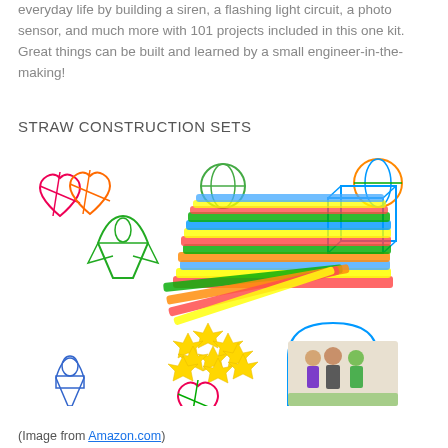everyday life by building a siren, a flashing light circuit, a photo sensor, and much more with 101 projects included in this one kit. Great things can be built and learned by a small engineer-in-the-making!
STRAW CONSTRUCTION SETS
[Figure (photo): Photo of a straw construction set showing colorful plastic straws and yellow star-shaped connectors, with outline drawings of 3D shapes (rocket, sphere, cube, arch, heart) built from the straws, and three children posing inside a straw-built arch structure.]
(Image from Amazon.com)